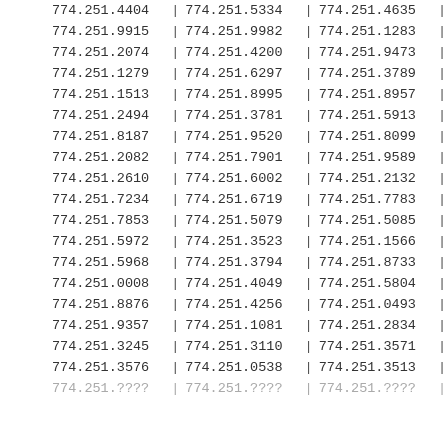| col1 | | | col2 | | | col3 | | |
| --- | --- | --- | --- | --- | --- |
| 774.251.4404 | | | 774.251.5334 | | | 774.251.4635 | | |
| 774.251.9915 | | | 774.251.9982 | | | 774.251.1283 | | |
| 774.251.2074 | | | 774.251.4200 | | | 774.251.9473 | | |
| 774.251.1279 | | | 774.251.6297 | | | 774.251.3789 | | |
| 774.251.1513 | | | 774.251.8995 | | | 774.251.8957 | | |
| 774.251.2494 | | | 774.251.3781 | | | 774.251.5913 | | |
| 774.251.8187 | | | 774.251.9520 | | | 774.251.8099 | | |
| 774.251.2082 | | | 774.251.7901 | | | 774.251.9589 | | |
| 774.251.2610 | | | 774.251.6002 | | | 774.251.2132 | | |
| 774.251.7234 | | | 774.251.6719 | | | 774.251.7783 | | |
| 774.251.7853 | | | 774.251.5079 | | | 774.251.5085 | | |
| 774.251.5972 | | | 774.251.3523 | | | 774.251.1566 | | |
| 774.251.5968 | | | 774.251.3794 | | | 774.251.8733 | | |
| 774.251.0008 | | | 774.251.4049 | | | 774.251.5804 | | |
| 774.251.8876 | | | 774.251.4256 | | | 774.251.0493 | | |
| 774.251.9357 | | | 774.251.1081 | | | 774.251.2834 | | |
| 774.251.3245 | | | 774.251.3110 | | | 774.251.3571 | | |
| 774.251.3576 | | | 774.251.0538 | | | 774.251.3513 | | |
| 774.251.???? | | | 774.251.???? | | | 774.251.???? | | |